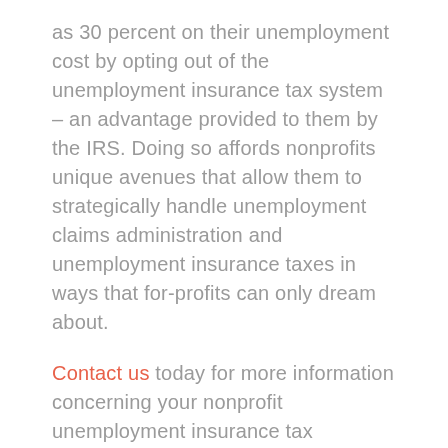as 30 percent on their unemployment cost by opting out of the unemployment insurance tax system – an advantage provided to them by the IRS. Doing so affords nonprofits unique avenues that allow them to strategically handle unemployment claims administration and unemployment insurance taxes in ways that for-profits can only dream about.
Contact us today for more information concerning your nonprofit unemployment insurance tax advantages.